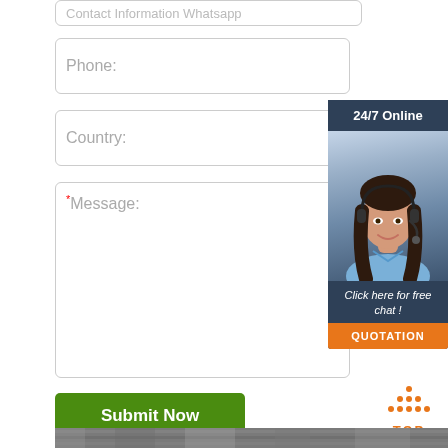Contact Information Whatsapp
Phone:
Country:
*Message:
[Figure (photo): Customer support agent with headset, 24/7 Online chat widget with 'Click here for free chat!' and 'QUOTATION' button]
Submit Now
[Figure (illustration): Orange dotted triangle TOP button for back to top navigation]
[Figure (photo): Bottom strip showing wooden/material texture image]